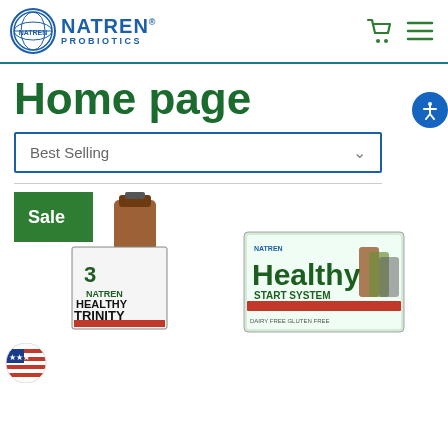[Figure (logo): Natren Probiotics logo with circular badge and blue text]
Home page
[Figure (screenshot): Best Selling dropdown selector with teal border]
[Figure (photo): Natren Healthy Trinity supplement bottle with Sale badge and product box]
[Figure (photo): Natren Healthy Start System product box]